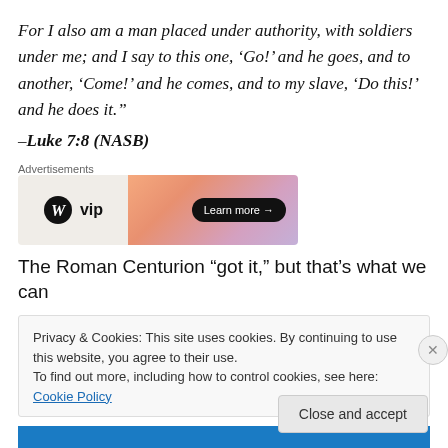For I also am a man placed under authority, with soldiers under me; and I say to this one, ‘Go!’ and he goes, and to another, ‘Come!’ and he comes, and to my slave, ‘Do this!’ and he does it.”
–Luke 7:8 (NASB)
[Figure (other): WordPress VIP advertisement banner with Learn more button]
The Roman Centurion “got it,” but that’s what we can
Privacy & Cookies: This site uses cookies. By continuing to use this website, you agree to their use.
To find out more, including how to control cookies, see here: Cookie Policy